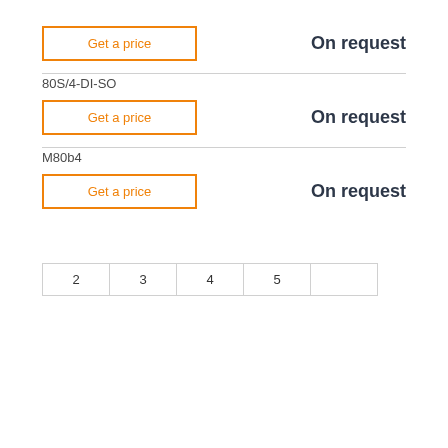Get a price
On request
80S/4-DI-SO
Get a price
On request
M80b4
Get a price
On request
| 2 | 3 | 4 | 5 |  |